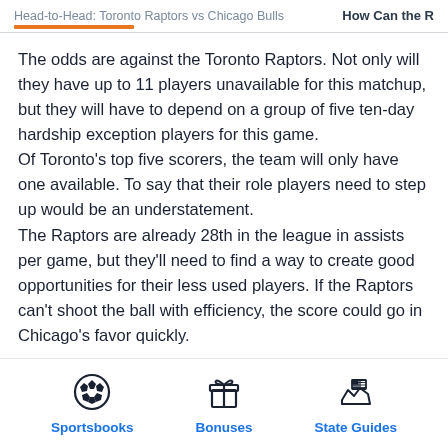Head-to-Head: Toronto Raptors vs Chicago Bulls   How Can the R
The odds are against the Toronto Raptors. Not only will they have up to 11 players unavailable for this matchup, but they will have to depend on a group of five ten-day hardship exception players for this game.
Of Toronto's top five scorers, the team will only have one available. To say that their role players need to step up would be an understatement.
The Raptors are already 28th in the league in assists per game, but they'll need to find a way to create good opportunities for their less used players. If the Raptors can't shoot the ball with efficiency, the score could go in Chicago's favor quickly.
[Figure (infographic): Three navigation icons: a soccer ball icon labeled 'Sportsbooks', a gift box icon labeled 'Bonuses', and a US map with flag icon labeled 'State Guides', all in blue on white background]